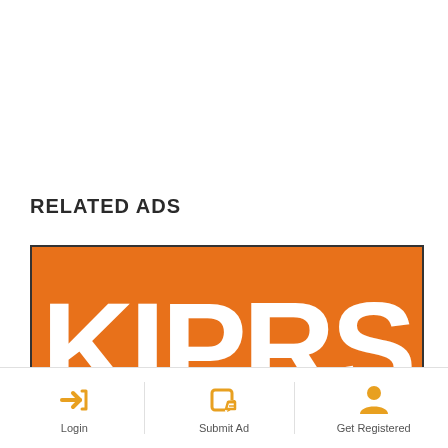RELATED ADS
[Figure (logo): KIPRS logo with orange background showing the word KIPRS in large white bold letters, below which are disability/accessibility icons: a wheelchair user (light gray), a person with a walking stick (medium gray), a person in a wheelchair leaning forward (dark gray), and an orange figure. A dark navy overlay box with a double up-arrow chevron appears over the orange figure. The image has a dark border.]
[Figure (infographic): Bottom navigation bar with three sections: Login (orange arrow-into-bracket icon), Submit Ad (orange pencil-on-square icon), Get Registered (orange person/user icon). Each section separated by vertical lines.]